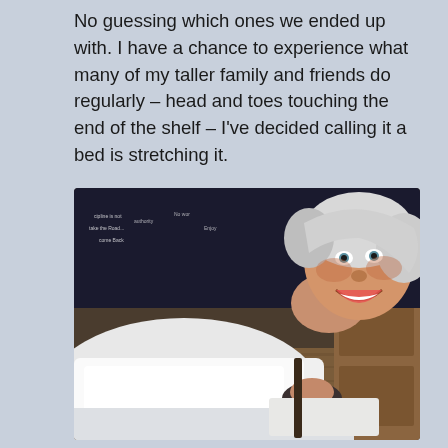No guessing which ones we ended up with. I have a chance to experience what many of my taller family and friends do regularly – head and toes touching the end of the shelf – I've decided calling it a bed is stretching it.
[Figure (photo): A person with white/silver hair lying on a small bed, smiling at the camera in a selfie-style photo. Another person can be seen sleeping in the background on a similarly small bed. The room appears to be a cabin or small hotel room with wooden furniture.]